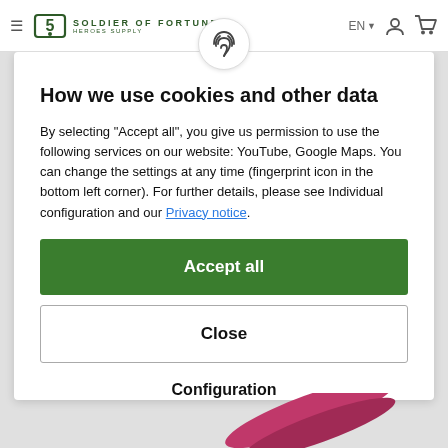Soldier of Fortune Heroes Supply — EN navigation bar with hamburger menu, logo, language selector, user icon, cart icon
[Figure (illustration): Fingerprint icon in a white circular button overlapping the top of the modal dialog]
How we use cookies and other data
By selecting "Accept all", you give us permission to use the following services on our website: YouTube, Google Maps. You can change the settings at any time (fingerprint icon in the bottom left corner). For further details, please see Individual configuration and our Privacy notice.
Accept all
Close
Configuration